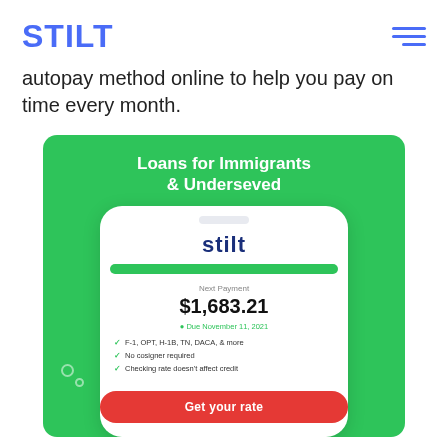STILT
autopay method online to help you pay on time every month.
[Figure (illustration): Stilt advertisement banner with green background showing 'Loans for Immigrants & Underserved', a phone mockup displaying the Stilt app with Next Payment of $1,683.21, Due November 11, 2021, checklist items: F-1, OPT, H-1B, TN, DACA, & more; No cosigner required; Checking rate doesn't affect credit; and a red 'Get your rate' button.]